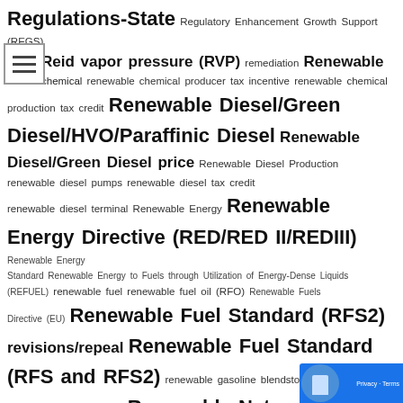Regulations-State Regulatory Enhancement Growth Support (REGS) Reid vapor pressure (RVP) remediation Renewable chemical renewable chemical producer tax incentive renewable chemical production tax credit Renewable Diesel/Green Diesel/HVO/Paraffinic Diesel Renewable Diesel/Green Diesel price Renewable Diesel Production renewable diesel pumps renewable diesel tax credit renewable diesel terminal Renewable Energy Renewable Energy Directive (RED/RED II/REDIII) Renewable Energy Standard Renewable Energy to Fuels through Utilization of Energy-Dense Liquids (REFUEL) renewable fuel renewable fuel oil (RFO) Renewable Fuels Directive (EU) Renewable Fuel Standard (RFS2) revisions/repeal Renewable Fuel Standard (RFS and RFS2) renewable gasoline blendstock renewable marine diesel Renewable Natural Gas (RNG) Renewable Natural Gas (RNG) price Renewable Natural Gas (RNG) pumps Renewable Portfolio Standards Renewable Power Standard Renewable Synthesized Iso-Paraffinic Fuels (SIP) Renewable Transport Fuel Obligation (RTFO) renewable volume obligation (RVO) RenovaBio replacement molecules Repurpose Assistance Program repurpose research and development facility resiliency resolution restoration retail retrofit return
[Figure (other): Navigation hamburger menu icon with three horizontal bars]